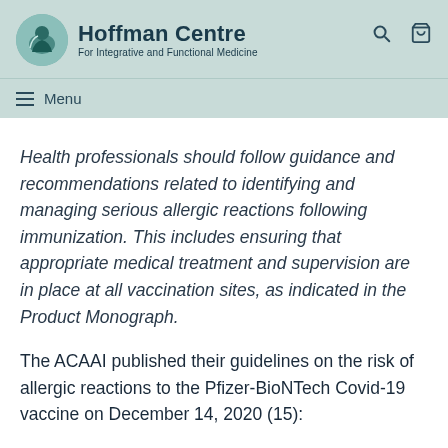Hoffman Centre For Integrative and Functional Medicine
Health professionals should follow guidance and recommendations related to identifying and managing serious allergic reactions following immunization. This includes ensuring that appropriate medical treatment and supervision are in place at all vaccination sites, as indicated in the Product Monograph.
The ACAAI published their guidelines on the risk of allergic reactions to the Pfizer-BioNTech Covid-19 vaccine on December 14, 2020 (15):